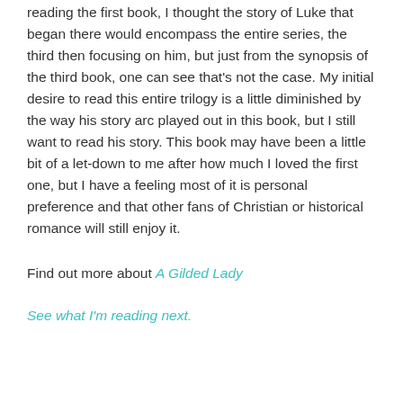reading the first book, I thought the story of Luke that began there would encompass the entire series, the third then focusing on him, but just from the synopsis of the third book, one can see that's not the case. My initial desire to read this entire trilogy is a little diminished by the way his story arc played out in this book, but I still want to read his story. This book may have been a little bit of a let-down to me after how much I loved the first one, but I have a feeling most of it is personal preference and that other fans of Christian or historical romance will still enjoy it.
Find out more about A Gilded Lady
See what I'm reading next.